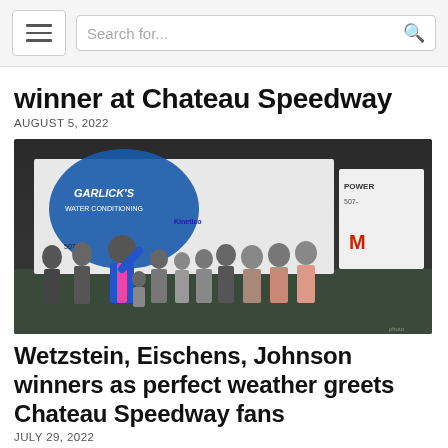Search for...
winner at Chateau Speedway
AUGUST 5, 2022
[Figure (photo): Group photo of racing team and supporters in front of a Garlick's Water Conditioning sponsor banner at Chateau Speedway victory lane at night. A driver in a blue and pink racing suit stands in the center with arms raised.]
Wetzstein, Eischens, Johnson winners as perfect weather greets Chateau Speedway fans
JULY 29, 2022